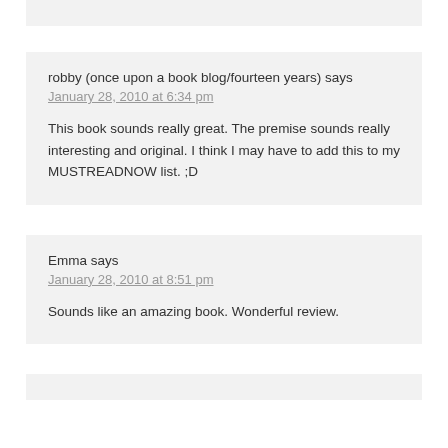robby (once upon a book blog/fourteen years) says
January 28, 2010 at 6:34 pm
This book sounds really great. The premise sounds really interesting and original. I think I may have to add this to my MUSTREADNOW list. ;D
Emma says
January 28, 2010 at 8:51 pm
Sounds like an amazing book. Wonderful review.